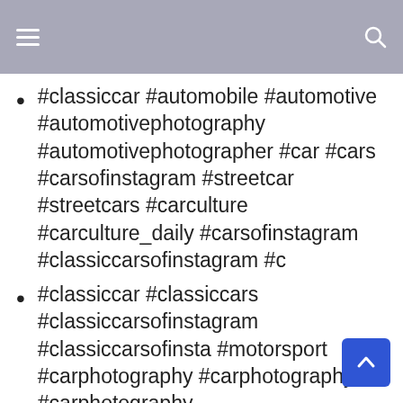#classiccar #automobile #automotive #automotivephotography #automotivephotographer #car #cars #carsofinstagram #streetcar #streetcars #carculture #carculture_daily #carsofinstagram #classiccarsofinstagram #c
#classiccar #classiccars #classiccarsofinstagram #classiccarsofinsta #motorsport #carphotography #carphotography #carphotography #classiccars